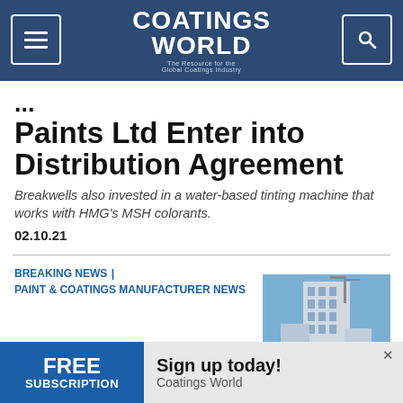Coatings World — The Resource for the Global Coatings Industry
Paints Ltd Enter into Distribution Agreement
Breakwells also invested in a water-based tinting machine that works with HMG's MSH colorants.
02.10.21
BREAKING NEWS | PAINT & COATINGS MANUFACTURER NEWS
[Figure (photo): Photo of a tall building (skyscraper) against a blue sky]
FREE SUBSCRIPTION — Sign up today! Coatings World